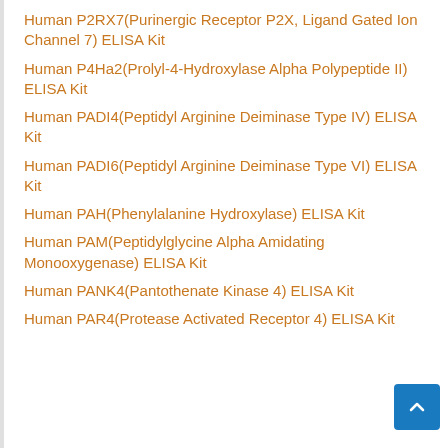Human P2RX7(Purinergic Receptor P2X, Ligand Gated Ion Channel 7) ELISA Kit
Human P4Ha2(Prolyl-4-Hydroxylase Alpha Polypeptide II) ELISA Kit
Human PADI4(Peptidyl Arginine Deiminase Type IV) ELISA Kit
Human PADI6(Peptidyl Arginine Deiminase Type VI) ELISA Kit
Human PAH(Phenylalanine Hydroxylase) ELISA Kit
Human PAM(Peptidylglycine Alpha Amidating Monooxygenase) ELISA Kit
Human PANK4(Pantothenate Kinase 4) ELISA Kit
Human PAR4(Protease Activated Receptor 4) ELISA Kit